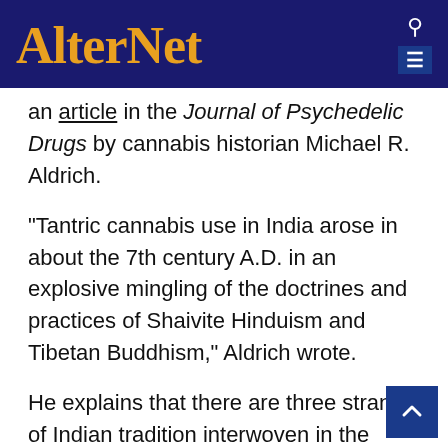AlterNet
an article in the Journal of Psychedelic Drugs by cannabis historian Michael R. Aldrich.
"Tantric cannabis use in India arose in about the 7th century A.D. in an explosive mingling of the doctrines and practices of Shaivite Hinduism and Tibetan Buddhism," Aldrich wrote.
He explains that there are three strands of Indian tradition interwoven in the Tantras. The first is, "the magical or ceremonial use of marijuana... As in so many other shamanistic